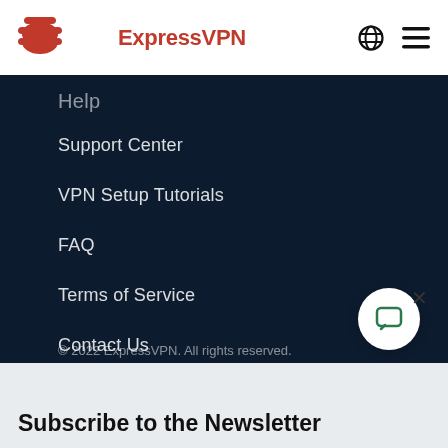ExpressVPN
Help
Support Center
VPN Setup Tutorials
FAQ
Terms of Service
Contact Us
© 2022 ExpressVPN. All rights reserved.
Subscribe to the Newsletter